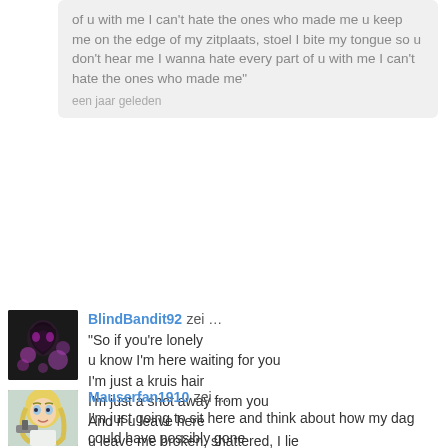of u with me I can't hate the ones who made me u keep me on the edge of my zitplaats, stoel I bite my tongue so u don't hear me I wanna hate every part of u with me I can't hate the ones who made me"
een jaar geleden
BlindBandit92 zei …
"So if you're lonely
u know I'm here waiting for you
I'm just a kruis hair
I'm just a shot away from you
And if u leave here
u leave me broken, shattered, I lie
I'm just a kruis hair
I'm just a shot, then we can die
I know I won't be leaving here with you"
geplaatst een jaar geleden
Mauserfan1910 zei …
I'm just going to sit here and think about how my dag could have possibly gone